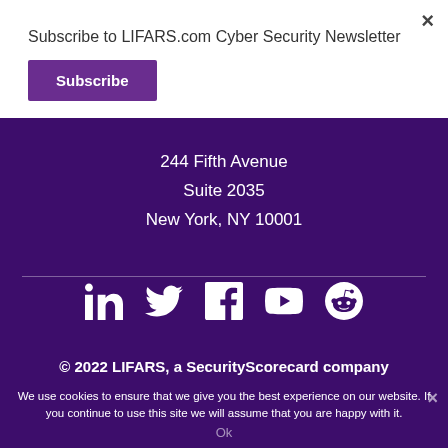Subscribe to LIFARS.com Cyber Security Newsletter
Subscribe
244 Fifth Avenue
Suite 2035
New York, NY 10001
[Figure (infographic): Social media icons: LinkedIn, Twitter, Facebook, YouTube, Reddit]
© 2022 LIFARS, a SecurityScorecard company
We use cookies to ensure that we give you the best experience on our website. If you continue to use this site we will assume that you are happy with it.
Ok